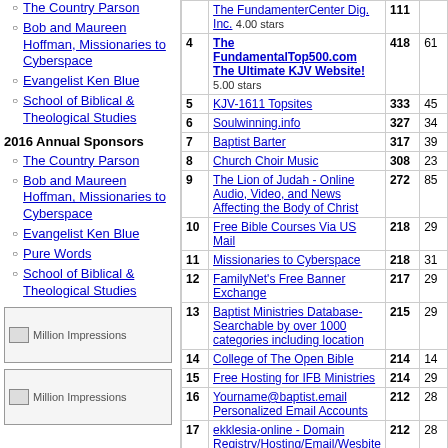The Country Parson
Bob and Maureen Hoffman, Missionaries to Cyberspace
Evangelist Ken Blue
School of Biblical & Theological Studies
2016 Annual Sponsors
The Country Parson
Bob and Maureen Hoffman, Missionaries to Cyberspace
Evangelist Ken Blue
Pure Words
School of Biblical & Theological Studies
[Figure (other): Million Impressions banner ad image]
[Figure (other): Million Impressions banner ad image]
| # | Site | Hits |  |
| --- | --- | --- | --- |
|  | The FundamenterCenter Dig. Inc. 4.00 stars | 111 |  |
| 4 | The FundamentalTop500.com The Ultimate KJV Website! 5.00 stars | 418 | 61 |
| 5 | KJV-1611 Topsites | 333 | 45 |
| 6 | Soulwinning.info | 327 | 34 |
| 7 | Baptist Barter | 317 | 39 |
| 8 | Church Choir Music | 308 | 23 |
| 9 | The Lion of Judah - Online Audio, Video, and News Affecting the Body of Christ | 272 | 85 |
| 10 | Free Bible Courses Via US Mail | 218 | 29 |
| 11 | Missionaries to Cyberspace | 218 | 31 |
| 12 | FamilyNet's Free Banner Exchange | 217 | 29 |
| 13 | Baptist Ministries Database- Searchable by over 1000 categories including location | 215 | 29 |
| 14 | College of The Open Bible | 214 | 14 |
| 15 | Free Hosting for IFB Ministries | 214 | 29 |
| 16 | Yourname@baptist.email Personalized Email Accounts | 212 | 28 |
| 17 | ekklesia-online - Domain Registry/Hosting/Email/Wesbite Tonight/SSL | 212 | 28 |
| 18 | Faith Bible Baptist Church -> Disclipleship material + Audio & Video Sermons + hundreds of Articles | 186 | 27 |
| 19 | Bible Truth | 177 | 37 |
| 20 | Free Bulletin Insert, Sunday | 151 | 2 |